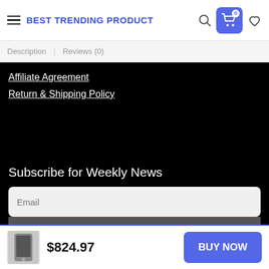BEST TRENDING PRODUCT
Description  Reviews (0)
Affiliate Agreement
Return & Shipping Policy
Subscribe for Weekly News
Email
Subscribe
$824.97
BUY NOW